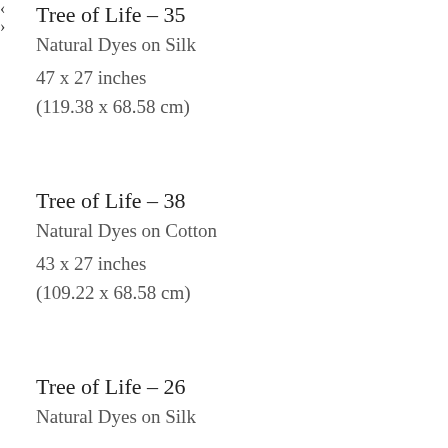Tree of Life – 35
Natural Dyes on Silk
47 x 27 inches
(119.38 x 68.58 cm)
Tree of Life – 38
Natural Dyes on Cotton
43 x 27 inches
(109.22 x 68.58 cm)
Tree of Life – 26
Natural Dyes on Silk